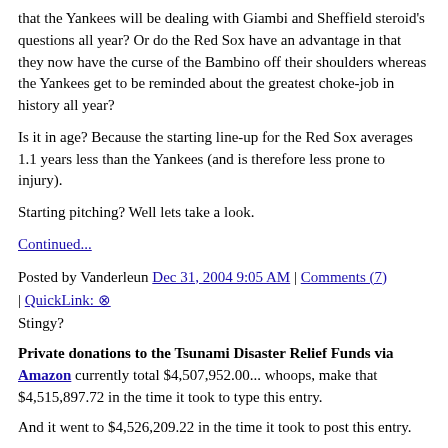that the Yankees will be dealing with Giambi and Sheffield steroid's questions all year? Or do the Red Sox have an advantage in that they now have the curse of the Bambino off their shoulders whereas the Yankees get to be reminded about the greatest choke-job in history all year?
Is it in age? Because the starting line-up for the Red Sox averages 1.1 years less than the Yankees (and is therefore less prone to injury).
Starting pitching? Well lets take a look.
Continued...
Posted by Vanderleun Dec 31, 2004 9:05 AM | Comments (7) | QuickLink: ⊛
Stingy?
Private donations to the Tsunami Disaster Relief Funds via Amazon currently total $4,507,952.00... whoops, make that $4,515,897.72 in the time it took to type this entry.
And it went to $4,526,209.22 in the time it took to post this entry.
Rough estimate: $10,000 a minute. Average donation: $60.00